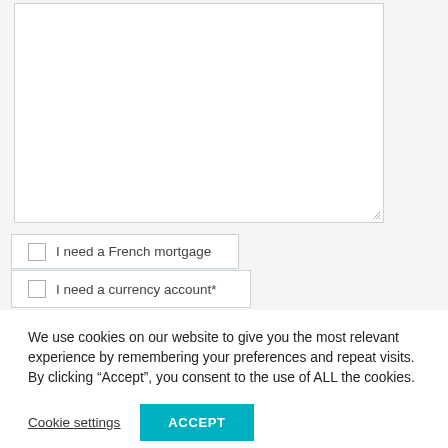[Figure (screenshot): A web form textarea (large empty text input box) with a resize handle in the bottom-right corner.]
I need a French mortgage
I need a currency account*
We use cookies on our website to give you the most relevant experience by remembering your preferences and repeat visits. By clicking “Accept”, you consent to the use of ALL the cookies.
Cookie settings
ACCEPT